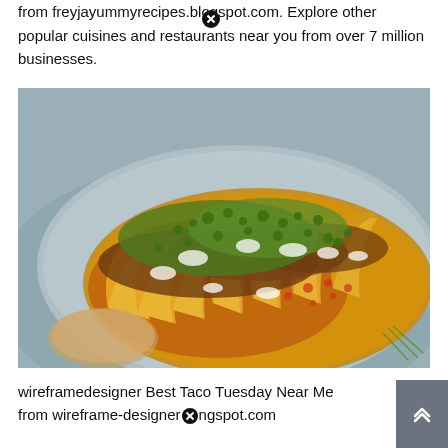from freyjayummyrecipes.blogspot.com. Explore other popular cuisines and restaurants near you from over 7 million businesses.
[Figure (photo): A close-up photo of multiple tacos arranged on a round plate/platter, filled with seasoned ground meat and topped with chopped cilantro, sour cream, salsa, and guacamole. The tacos have yellow corn tortilla shells.]
wireframedesigner Best Taco Tuesday Near Me from wireframe-designer.blogspot.com